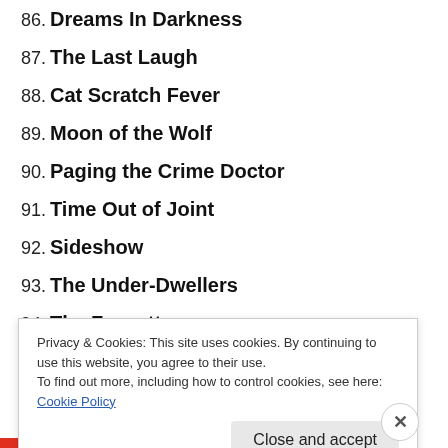86. Dreams In Darkness
87. The Last Laugh
88. Cat Scratch Fever
89. Moon of the Wolf
90. Paging the Crime Doctor
91. Time Out of Joint
92. Sideshow
93. The Under-Dwellers
94. The Forgotten
95. Showdown
96. The Terrible Trio
Privacy & Cookies: This site uses cookies. By continuing to use this website, you agree to their use. To find out more, including how to control cookies, see here: Cookie Policy
Close and accept